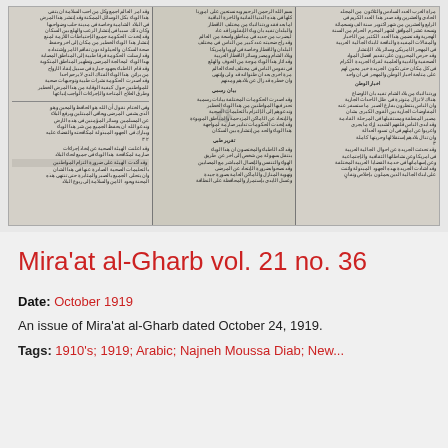[Figure (photo): A scanned/photographed Arabic manuscript page showing three columns of handwritten Arabic text on aged paper, black and white image.]
Mira'at al-Gharb vol. 21 no. 36
Date: October 1919
An issue of Mira'at al-Gharb dated October 24, 1919.
Tags: 1910's; 1919; Arabic; Najneh Moussa Diab; New...